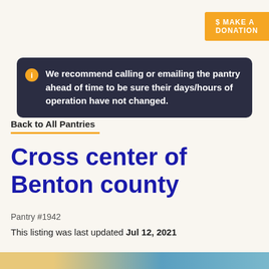$ MAKE A DONATION
We recommend calling or emailing the pantry ahead of time to be sure their days/hours of operation have not changed.
Back to All Pantries
Cross center of Benton county
Pantry #1942
This listing was last updated Jul 12, 2021
Information out of date? Let us know!
[Figure (photo): Partial photo strip at bottom of page showing outdoor scene with blue sky and yellow/tan foreground.]